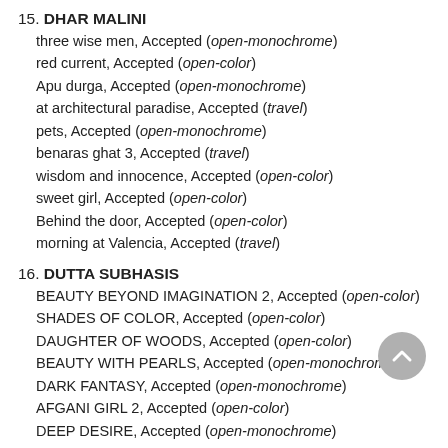15. DHAR MALINI
three wise men, Accepted (open-monochrome)
red current, Accepted (open-color)
Apu durga, Accepted (open-monochrome)
at architectural paradise, Accepted (travel)
pets, Accepted (open-monochrome)
benaras ghat 3, Accepted (travel)
wisdom and innocence, Accepted (open-color)
sweet girl, Accepted (open-color)
Behind the door, Accepted (open-color)
morning at Valencia, Accepted (travel)
16. DUTTA SUBHASIS
BEAUTY BEYOND IMAGINATION 2, Accepted (open-color)
SHADES OF COLOR, Accepted (open-color)
DAUGHTER OF WOODS, Accepted (open-color)
BEAUTY WITH PEARLS, Accepted (open-monochrome)
DARK FANTASY, Accepted (open-monochrome)
AFGANI GIRL 2, Accepted (open-color)
DEEP DESIRE, Accepted (open-monochrome)
17. GHOSH DASTIDAR INDRANIL